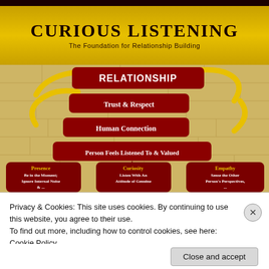CURIOUS LISTENING
The Foundation for Relationship Building
[Figure (infographic): Pyramid/hierarchy infographic showing layers: Relationship (top, dark red rounded rectangle), Trust & Respect, Human Connection, Person Feels Listened To & Valued. Three dark red arrow/speech-bubble shapes at bottom labeled: Presence - Be in the moment; Ignore internal noise & ..., Curiosity - Listen with an attitude of genuine..., Empathy - Sense the other person's perspectives, ... Yellow arrows spiral around the layers.]
Privacy & Cookies: This site uses cookies. By continuing to use this website, you agree to their use.
To find out more, including how to control cookies, see here: Cookie Policy
Close and accept